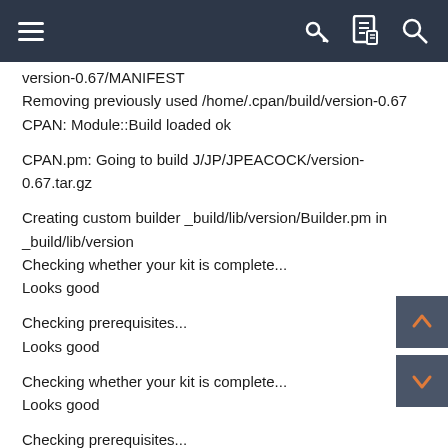Navigation bar with hamburger menu, key, document, and search icons
version-0.67/MANIFEST
Removing previously used /home/.cpan/build/version-0.67
CPAN: Module::Build loaded ok
CPAN.pm: Going to build J/JP/JPEACOCK/version-0.67.tar.gz
Creating custom builder _build/lib/version/Builder.pm in _build/lib/version
Checking whether your kit is complete...
Looks good
Checking prerequisites...
Looks good
Checking whether your kit is complete...
Looks good
Checking prerequisites...
Looks good
Creating new 'Build' script for 'version' version '0.67'